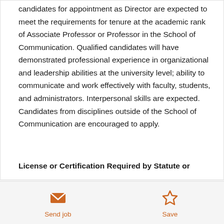candidates for appointment as Director are expected to meet the requirements for tenure at the academic rank of Associate Professor or Professor in the School of Communication. Qualified candidates will have demonstrated professional experience in organizational and leadership abilities at the university level; ability to communicate and work effectively with faculty, students, and administrators. Interpersonal skills are expected. Candidates from disciplines outside of the School of Communication are encouraged to apply.
License or Certification Required by Statute or